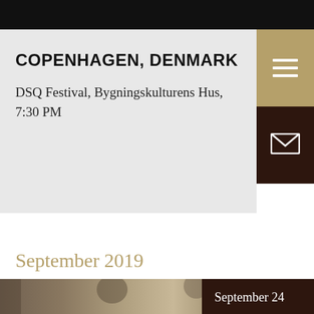COPENHAGEN, DENMARK
DSQ Festival, Bygningskulturens Hus, 7:30 PM
September 2019
[Figure (photo): Black and white photo of musicians playing violin in an ornate room, with a September 24 date badge overlay in dark brown]
September 24